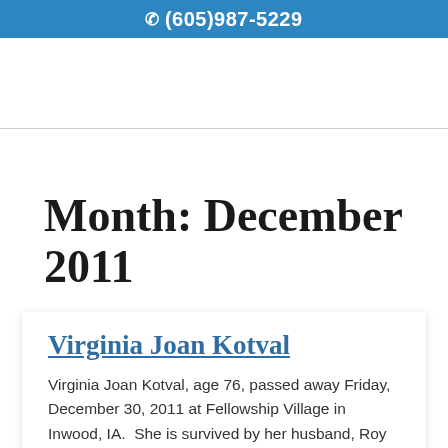(605)987-5229
Month: December 2011
Virginia Joan Kotval
Virginia Joan Kotval, age 76, passed away Friday, December 30, 2011 at Fellowship Village in Inwood, IA.  She is survived by her husband, Roy and brother,